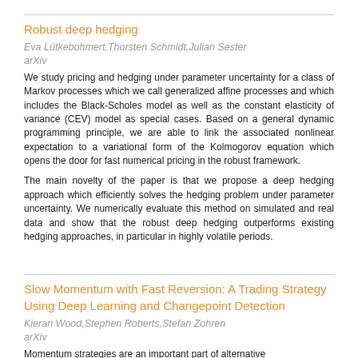Robust deep hedging
Eva Lütkebohmert,Thorsten Schmidt,Julian Sester
arXiv
We study pricing and hedging under parameter uncertainty for a class of Markov processes which we call generalized affine processes and which includes the Black-Scholes model as well as the constant elasticity of variance (CEV) model as special cases. Based on a general dynamic programming principle, we are able to link the associated nonlinear expectation to a variational form of the Kolmogorov equation which opens the door for fast numerical pricing in the robust framework.
The main novelty of the paper is that we propose a deep hedging approach which efficiently solves the hedging problem under parameter uncertainty. We numerically evaluate this method on simulated and real data and show that the robust deep hedging outperforms existing hedging approaches, in particular in highly volatile periods.
Slow Momentum with Fast Reversion: A Trading Strategy Using Deep Learning and Changepoint Detection
Kieran Wood,Stephen Roberts,Stefan Zohren
arXiv
Momentum strategies are an important part of alternative